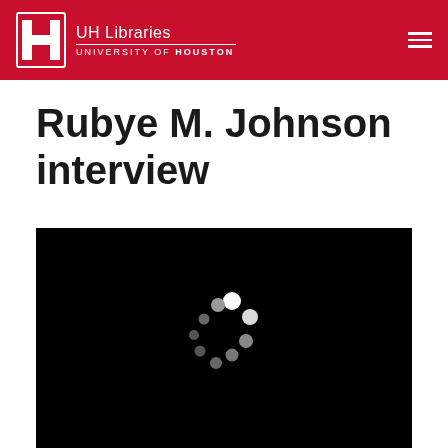UH Libraries UNIVERSITY OF HOUSTON
Rubye M. Johnson interview
[Figure (screenshot): Video player showing a black screen with a loading spinner (circular dots pattern in white and gray) in the center.]